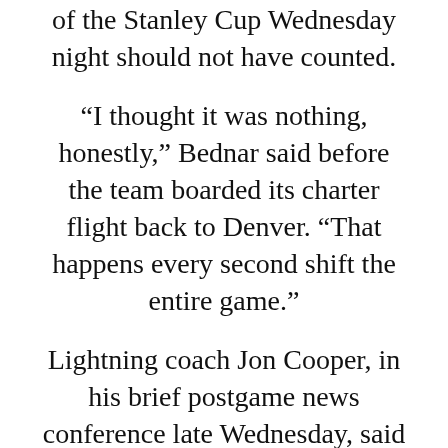of the Stanley Cup Wednesday night should not have counted.
“I thought it was nothing, honestly,” Bednar said before the team boarded its charter flight back to Denver. “That happens every second shift the entire game.”
Lightning coach Jon Cooper, in his brief postgame news conference late Wednesday, said “my heart breaks for the players because we probably should still be playing.” He walked out without explaining what he meant, but it is believed that the though the